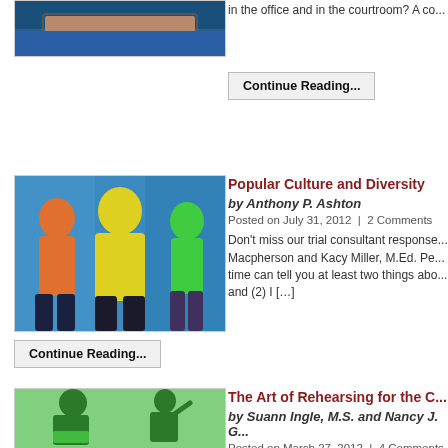[Figure (photo): Cropped top portion of an image showing a couch/bench in front of a blue teal background]
in the office and in the courtroom? A co...
Continue Reading...
[Figure (illustration): Abstract silhouette figures in orange, yellow, and green on teal background]
Popular Culture and Diversity
by Anthony P. Ashton
Posted on July 31, 2012  |  2 Comments
Don't miss our trial consultant responses... Macpherson and Kacy Miller, M.Ed. Pe... time can tell you at least two things abo... and (2) I [...]
Continue Reading...
[Figure (illustration): Green-tinted vintage illustration of two men, one reading a document, one gesturing]
The Art of Rehearsing for the C...
by Suann Ingle, M.S. and Nancy J. G...
Posted on March 27, 2012  |  4 Comments
Does it matter if you actually rehearse... two consultants tell you why as well as...
Continue Reading...